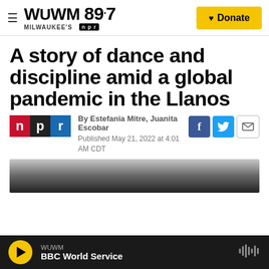WUWM 89.7 MILWAUKEE'S npr | Donate
A story of dance and discipline amid a global pandemic in the Llanos
By Estefania Mitre, Juanita Escobar
Published May 21, 2022 at 4:01 AM CDT
[Figure (photo): Dark landscape photo, partially visible at bottom of article]
WUWM BBC World Service